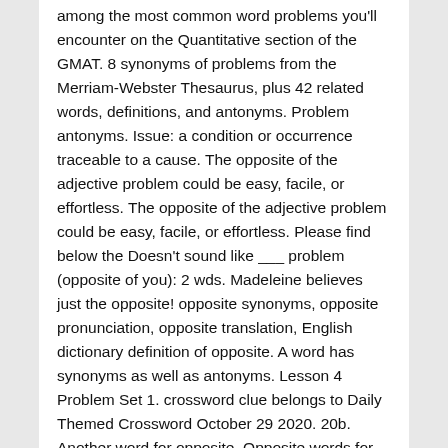among the most common word problems you'll encounter on the Quantitative section of the GMAT. 8 synonyms of problems from the Merriam-Webster Thesaurus, plus 42 related words, definitions, and antonyms. Problem antonyms. Issue: a condition or occurrence traceable to a cause. The opposite of the adjective problem could be easy, facile, or effortless. The opposite of the adjective problem could be easy, facile, or effortless. Please find below the Doesn't sound like ___ problem (opposite of you): 2 wds. Madeleine believes just the opposite! opposite synonyms, opposite pronunciation, opposite translation, English dictionary definition of opposite. A word has synonyms as well as antonyms. Lesson 4 Problem Set 1. crossword clue belongs to Daily Themed Crossword October 29 2020. 20b. Another word for opposite. Opposite words for Problem Solver. 10 c. -3 d. 15 2. Copyright © 2020 Multiply Media, LLC. You have to unlock every single clue to be able to complete the whole crossword grid. 50 synonyms of issue from the Merriam-Webster Thesaurus, plus 62 related words, definitions, and antonyms. Find the opposite of each number, and describe its location on the number line. Is there a way to